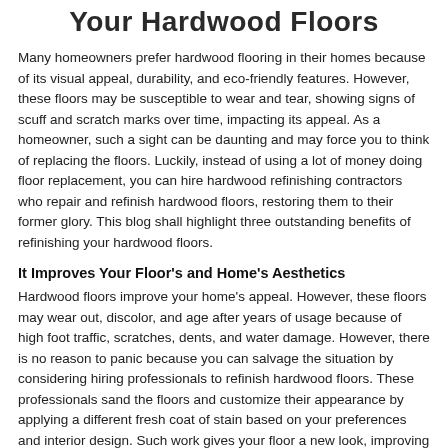Your Hardwood Floors
Many homeowners prefer hardwood flooring in their homes because of its visual appeal, durability, and eco-friendly features. However, these floors may be susceptible to wear and tear, showing signs of scuff and scratch marks over time, impacting its appeal. As a homeowner, such a sight can be daunting and may force you to think of replacing the floors. Luckily, instead of using a lot of money doing floor replacement, you can hire hardwood refinishing contractors who repair and refinish hardwood floors, restoring them to their former glory. This blog shall highlight three outstanding benefits of refinishing your hardwood floors.
It Improves Your Floor's and Home's Aesthetics
Hardwood floors improve your home's appeal. However, these floors may wear out, discolor, and age after years of usage because of high foot traffic, scratches, dents, and water damage. However, there is no reason to panic because you can salvage the situation by considering hiring professionals to refinish hardwood floors. These professionals sand the floors and customize their appearance by applying a different fresh coat of stain based on your preferences and interior design. Such work gives your floor a new look, improving your home's appearance.
It is Relatively Affordable
Another benefit of refinishing hardwood floors is reducing replacement or maintenance expenses. Suppose your floors